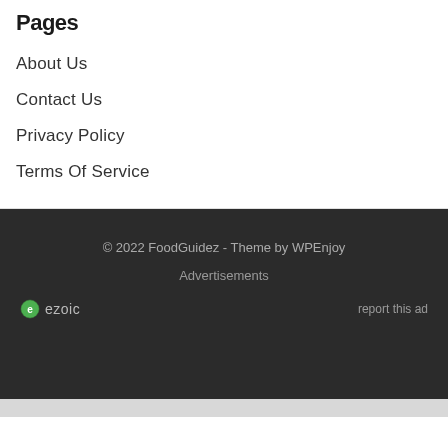Pages
About Us
Contact Us
Privacy Policy
Terms Of Service
© 2022 FoodGuidez - Theme by WPEnjoy
Advertisements
[Figure (logo): Ezoic logo with green circular icon and 'ezoic' text, with 'report this ad' link on the right]